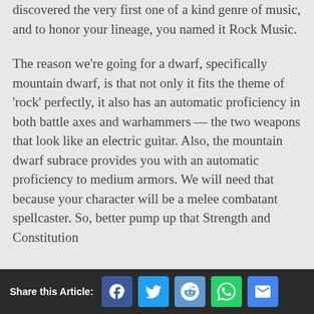discovered the very first one of a kind genre of music, and to honor your lineage, you named it Rock Music.
The reason we're going for a dwarf, specifically mountain dwarf, is that not only it fits the theme of 'rock' perfectly, it also has an automatic proficiency in both battle axes and warhammers — the two weapons that look like an electric guitar. Also, the mountain dwarf subrace provides you with an automatic proficiency to medium armors. We will need that because your character will be a melee combatant spellcaster. So, better pump up that Strength and Constitution
Share this Article: